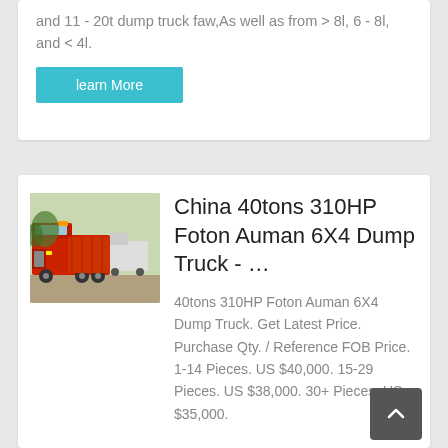and 11 - 20t dump truck faw,As well as from > 8l, 6 - 8l, and < 4l.
learn More
[Figure (photo): Red Foton Auman heavy dump truck photographed in a yard with other trucks in the background]
China 40tons 310HP Foton Auman 6X4 Dump Truck - ...
40tons 310HP Foton Auman 6X4 Dump Truck. Get Latest Price. Purchase Qty. / Reference FOB Price. 1-14 Pieces. US $40,000. 15-29 Pieces. US $38,000. 30+ Pieces. US $35,000.